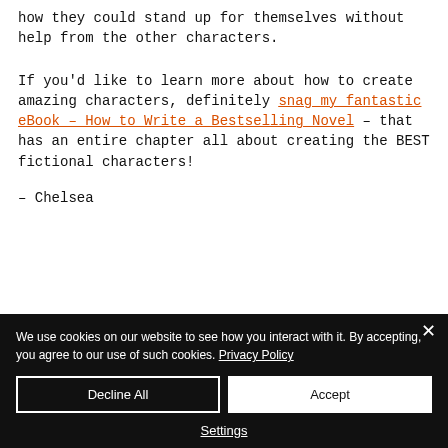how they could stand up for themselves without help from the other characters.
If you'd like to learn more about how to create amazing characters, definitely snag my fantastic eBook – How to Write a Bestselling Novel – that has an entire chapter all about creating the BEST fictional characters!
– Chelsea
We use cookies on our website to see how you interact with it. By accepting, you agree to our use of such cookies. Privacy Policy
Decline All
Accept
Settings